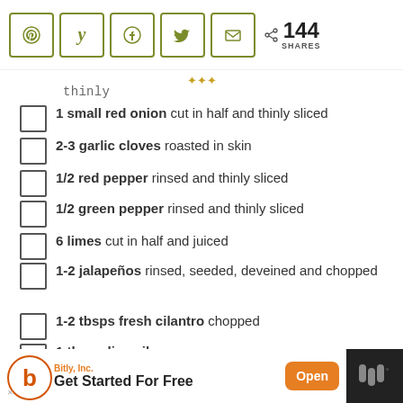Share buttons: Pinterest, Yummly, Facebook, Twitter, Email | 144 SHARES
thinly
1 small red onion cut in half and thinly sliced
2-3 garlic cloves roasted in skin
1/2 red pepper rinsed and thinly sliced
1/2 green pepper rinsed and thinly sliced
6 limes cut in half and juiced
1-2 jalapeños rinsed, seeded, deveined and chopped
1-2 tbsps fresh cilantro chopped
1 tbsp olive oil
salt and pepper to taste
tortilla chips optional
Bitly, Inc. Get Started For Free Open